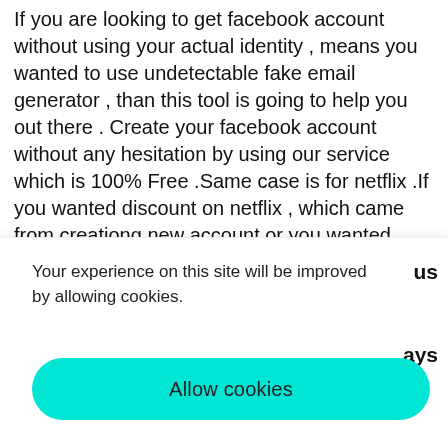If you are looking to get facebook account without using your actual identity , means you wanted to use undetectable fake email generator , than this tool is going to help you out there . Create your facebook account without any hesitation by using our service which is 100% Free .Same case is for netflix .If you wanted discount on netflix , which came from creationg new account or you wanted netflix for one time use , than just create email with our tool and enjoy your journey with us .This service is for community and does not
Your experience on this site will be improved by allowing cookies.
Allow cookies